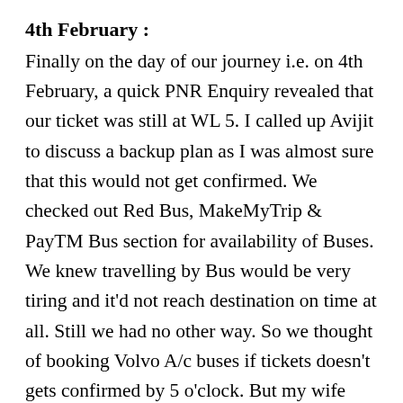4th February :
Finally on the day of our journey i.e. on 4th February, a quick PNR Enquiry revealed that our ticket was still at WL 5. I called up Avijit to discuss a backup plan as I was almost sure that this would not get confirmed. We checked out Red Bus, MakeMyTrip & PayTM Bus section for availability of Buses. We knew travelling by Bus would be very tiring and it'd not reach destination on time at all. Still we had no other way. So we thought of booking Volvo A/c buses if tickets doesn't gets confirmed by 5 o'clock. But my wife kept telling me not to worry, as she had hope that it'll get into RAC.